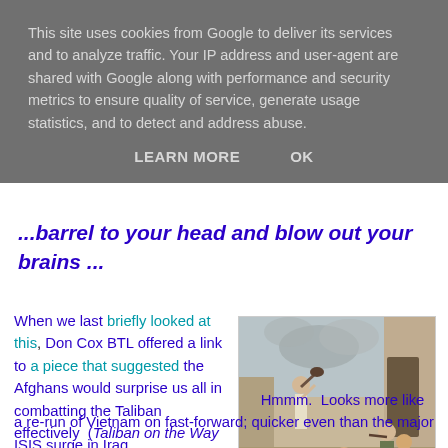This site uses cookies from Google to deliver its services and to analyze traffic. Your IP address and user-agent are shared with Google along with performance and security metrics to ensure quality of service, generate usage statistics, and to detect and address abuse.
LEARN MORE    OK
...barrel to your head and blow out your brains ...
When we last briefly looked at this, Don Cox BTL offered a link to a piece that suggested the Afghans would surprise us all in combatting the Taliban effectively  (Taliban on the Way to Kabul? Not so Fast...)  Hmmm.  Looks more like a re-run of Vietnam on fast-forward; quicker even than the major ISIS surge in Iraq
[Figure (illustration): Watercolor painting depicting a historical battle scene with figures in traditional Afghan/Central Asian dress, some fallen on the ground, others engaged in combat near stone buildings.]